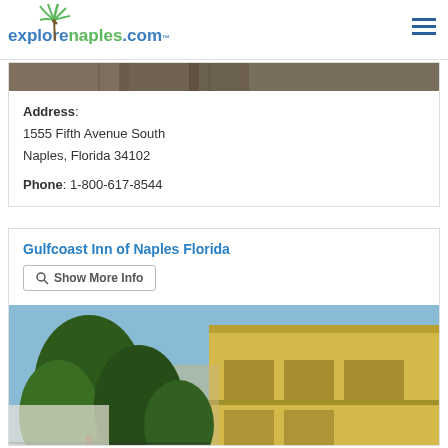[Figure (logo): explorenaples.com logo with palm tree icon]
[Figure (photo): Cropped bottom of a hotel/building exterior photo, dark tones]
Address: 1555 Fifth Avenue South Naples, Florida 34102
Phone: 1-800-617-8544
Gulfcoast Inn of Naples Florida
Show More Info
[Figure (photo): Photo of Gulfcoast Inn of Naples Florida, showing a two-story yellow building exterior with trees in the foreground]